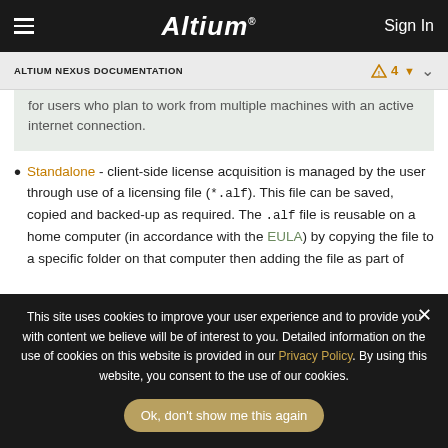Altium | Sign In
ALTIUM NEXUS DOCUMENTATION
for users who plan to work from multiple machines with an active internet connection.
Standalone - client-side license acquisition is managed by the user through use of a licensing file (*.alf). This file can be saved, copied and backed-up as required. The .alf file is reusable on a home computer (in accordance with the EULA) by copying the file to a specific folder on that computer then adding the file as part of
This site uses cookies to improve your user experience and to provide you with content we believe will be of interest to you. Detailed information on the use of cookies on this website is provided in our Privacy Policy. By using this website, you consent to the use of our cookies.
Ok, don't show me this again